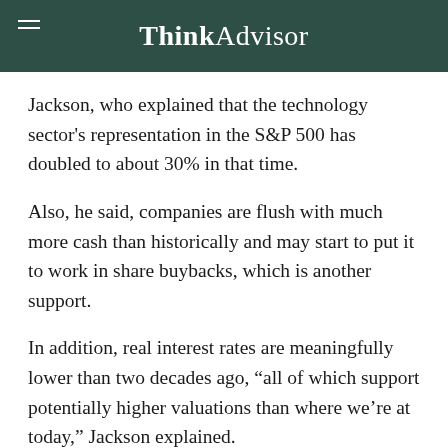ThinkAdvisor
Jackson, who explained that the technology sector's representation in the S&P 500 has doubled to about 30% in that time.
Also, he said, companies are flush with much more cash than historically and may start to put it to work in share buybacks, which is another support.
In addition, real interest rates are meaningfully lower than two decades ago, “all of which support potentially higher valuations than where we’re at today,” Jackson explained.
Shifting to Defensive Mode